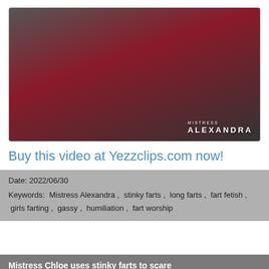[Figure (photo): Photo of Mistress Alexandra in black latex outfit with a male subject in a dungeon-like room with red walls, branded with MISTRESS ALEXANDRA watermark]
Buy this video at Yezzclips.com now!
Date: 2022/06/30
Keywords:  Mistress Alexandra ,  stinky farts ,  long farts ,  fart fetish ,  girls farting ,  gassy ,  humiliation ,  fart worship
Mistress Chloe uses stinky farts to scare